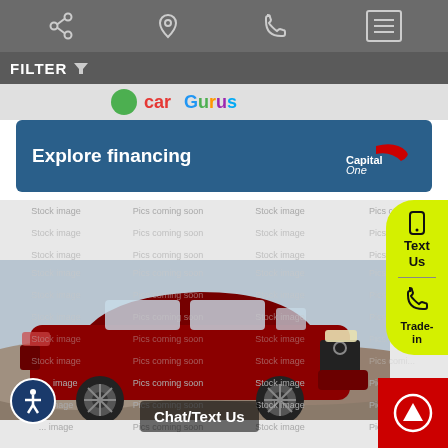[Figure (screenshot): Mobile website header navigation bar with share, location, phone, and menu icons on dark grey background]
FILTER
[Figure (logo): CarGurus logo partially visible]
[Figure (other): Explore financing banner with Capital One logo on dark blue background]
[Figure (photo): Red Audi SUV/Q5 crossover vehicle photo with watermark grid overlay showing Stock image and Pics coming soon text]
Text Us
Trade-in
Chat/Text Us